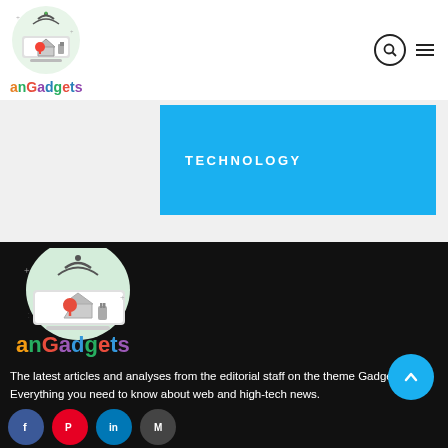[Figure (logo): anGadgets logo with smart home icon and colorful text]
TECHNOLOGY
[Figure (logo): Large anGadgets logo on dark background]
The latest articles and analyses from the editorial staff on the theme Gadget. Everything you need to know about web and high-tech news.